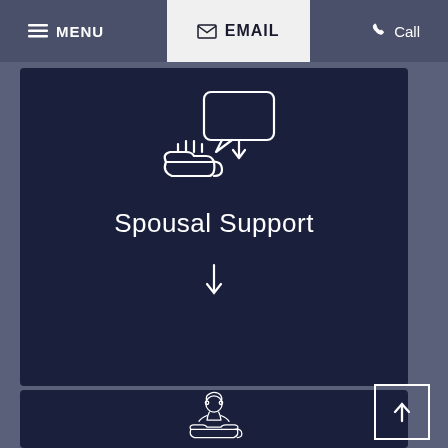MENU  EMAIL  Call
[Figure (illustration): White outline icon of hands receiving something with a speech bubble and arrow, on dark navy background]
Spousal Support
[Figure (illustration): Down arrow in white]
[Figure (illustration): Scroll to top button with upward arrow]
[Figure (illustration): White outline icon of a child/person cradled in a hand, on dark navy background]